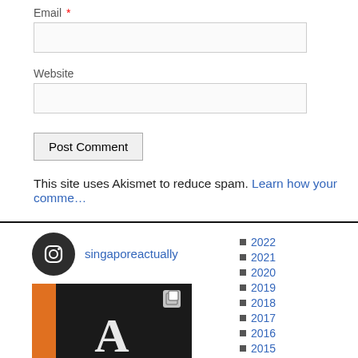Email *
Website
Post Comment
This site uses Akismet to reduce spam. Learn how your comment data is processed.
singaporeactually
[Figure (photo): Book with letter A and floral/bee design on dark cover]
2022
2021
2020
2019
2018
2017
2016
2015